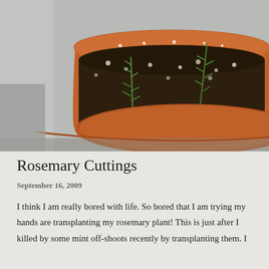[Figure (photo): Close-up photograph of a terracotta pot with dark soil and small rosemary seedling cuttings with thin green needle-like leaves growing upright from the soil. The pot has a matching terracotta saucer visible at the bottom edge. Background is light grey/white.]
Rosemary Cuttings
September 16, 2009
I think I am really bored with life. So bored that I am trying my hands are transplanting my rosemary plant! This is just after I killed by some mint off-shoots recently by transplanting them. I